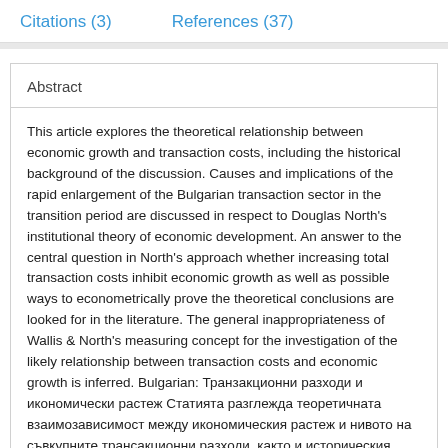Citations (3)    References (37)
Abstract
This article explores the theoretical relationship between economic growth and transaction costs, including the historical background of the discussion. Causes and implications of the rapid enlargement of the Bulgarian transaction sector in the transition period are discussed in respect to Douglas North's institutional theory of economic development. An answer to the central question in North's approach whether increasing total transaction costs inhibit economic growth as well as possible ways to econometrically prove the theoretical conclusions are looked for in the literature. The general inappropriateness of Wallis & North's measuring concept for the investigation of the likely relationship between transaction costs and economic growth is inferred. Bulgarian: Транзакционни разходи и икономически растеж Статията разглежда теоретичната взаимозависимост между икономическия растеж и нивото на съвкупните трансакционни разходи, както и историческия контекст на дискусията. Посочени са възможни причини и